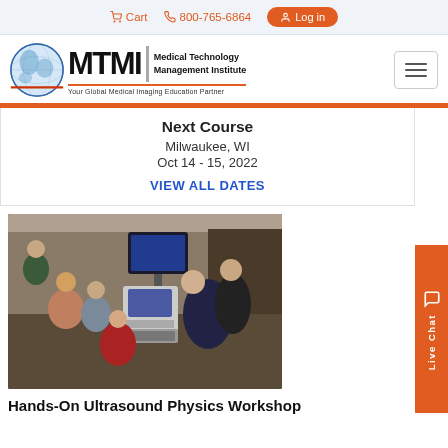Cart  800-765-6864  Log in
[Figure (logo): MTMI Medical Technology Management Institute logo with globe graphic and tagline 'Your Global Medical Imaging Education Partner']
Next Course
Milwaukee, WI
Oct 14 - 15, 2022
VIEW ALL DATES
[Figure (photo): Group of people gathered around an ultrasound machine in a clinical training setting]
Hands-On Ultrasound Physics Workshop